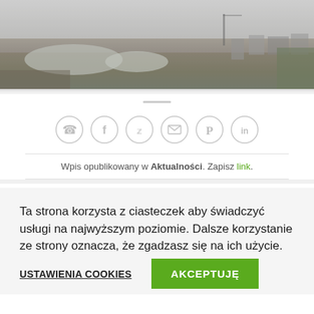[Figure (photo): Panoramic photo of a misty construction site with excavated pond-like areas and buildings in the background under a grey foggy sky]
[Figure (infographic): Row of six circular social media sharing icons: phone, Facebook, Twitter, email, Pinterest, LinkedIn — all in light grey outline style]
Wpis opublikowany w Aktualności. Zapisz link.
Ta strona korzysta z ciasteczek aby świadczyć usługi na najwyższym poziomie. Dalsze korzystanie ze strony oznacza, że zgadzasz się na ich użycie.
USTAWIENIA COOKIES
AKCEPTUJĘ